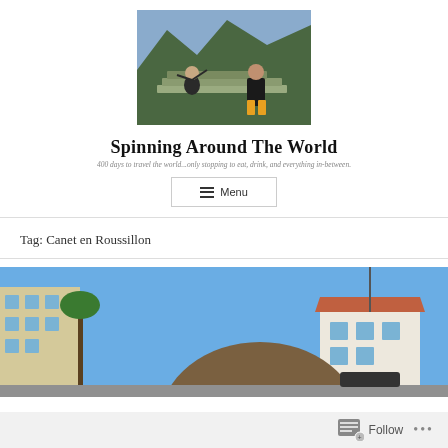[Figure (photo): Two people posing at Machu Picchu with mountains in background]
Spinning Around The World
400 days to travel the world...only stopping to eat, drink, and everything in-between.
≡ Menu
Tag: Canet en Roussillon
[Figure (photo): Street scene in Canet en Roussillon with buildings and a person's head in foreground]